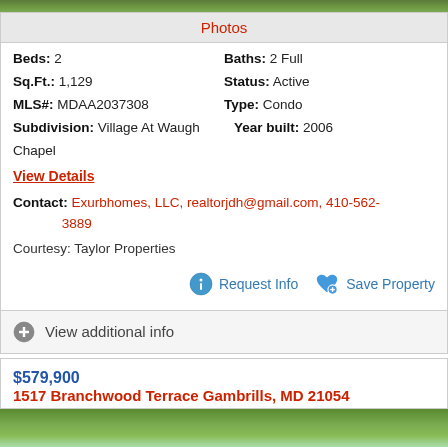[Figure (photo): Top strip showing property photo (trees/foliage)]
Photos
Beds: 2   Baths: 2 Full
Sq.Ft.: 1,129   Status: Active
MLS#: MDAA2037308   Type: Condo
Subdivision: Village At Waugh Chapel   Year built: 2006
View Details
Contact: Exurbhomes, LLC, realtorjdh@gmail.com, 410-562-3889
Courtesy: Taylor Properties
Request Info   Save Property
View additional info
$579,900
1517 Branchwood Terrace Gambrills, MD 21054
[Figure (photo): Bottom property photo showing trees and sky]